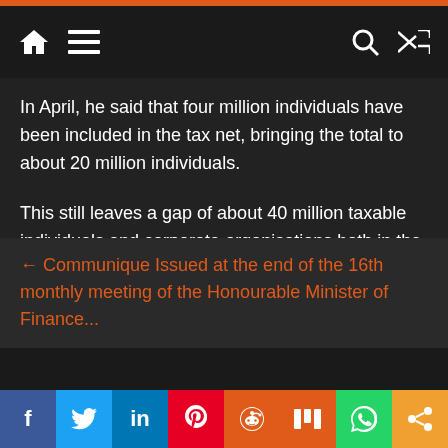Navigation bar with home, menu, search, and shuffle icons
In April, he said that four million individuals have been included in the tax net, bringing the total to about 20 million individuals.
This still leaves a gap of about 40 million taxable individuals and corporate organisations both in the formal and informal sectors.
(NAN)
← Communique Issued at the end of the 16th monthly meeting of the Honourable Minister of Finance...
Social share buttons: Facebook, Twitter, LinkedIn, Pinterest, Reddit, Mix, WhatsApp, Share